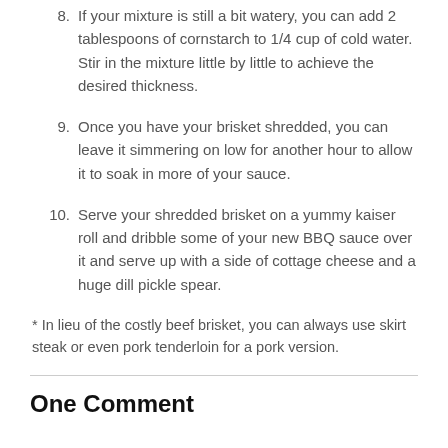8. If your mixture is still a bit watery, you can add 2 tablespoons of cornstarch to 1/4 cup of cold water. Stir in the mixture little by little to achieve the desired thickness.
9. Once you have your brisket shredded, you can leave it simmering on low for another hour to allow it to soak in more of your sauce.
10. Serve your shredded brisket on a yummy kaiser roll and dribble some of your new BBQ sauce over it and serve up with a side of cottage cheese and a huge dill pickle spear.
* In lieu of the costly beef brisket, you can always use skirt steak or even pork tenderloin for a pork version.
One Comment